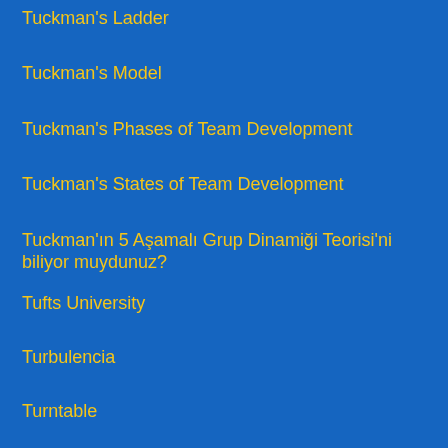Tuckman's Ladder
Tuckman's Model
Tuckman's Phases of Team Development
Tuckman's States of Team Development
Tuckman'ın 5 Aşamalı Grup Dinamiği Teorisi'ni biliyor muydunuz?
Tufts University
Turbulencia
Turntable
TW
Tyil...